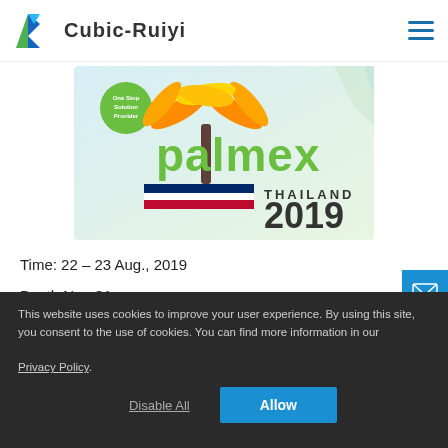Cubic-Ruiyi
[Figure (logo): Palmex Thailand 2019 event logo with palm tree graphic and Thai flag chevron]
Time: 22 – 23 Aug., 2019
Booth No.: 31
Venue: Ambassador City Jomtien, Pattaya, Chonburi, Thailand
This website uses cookies to improve your user experience. By using this site, you consent to the use of cookies. You can find more information in our Privacy Policy.